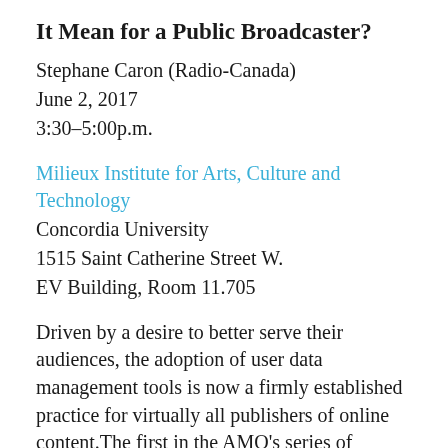It Mean for a Public Broadcaster?
Stephane Caron (Radio-Canada)
June 2, 2017
3:30–5:00p.m.
Milieux Institute for Arts, Culture and Technology
Concordia University
1515 Saint Catherine Street W.
EV Building, Room 11.705
Driven by a desire to better serve their audiences, the adoption of user data management tools is now a firmly established practice for virtually all publishers of online content.The first in the AMQ's series of